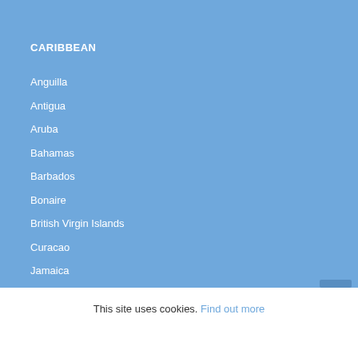CARIBBEAN
Anguilla
Antigua
Aruba
Bahamas
Barbados
Bonaire
British Virgin Islands
Curacao
Jamaica
This site uses cookies. Find out more